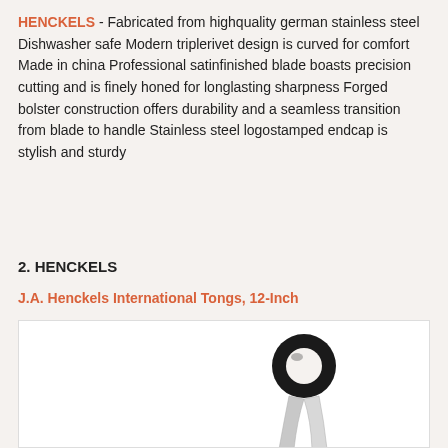HENCKELS - Fabricated from highquality german stainless steel Dishwasher safe Modern triplerivet design is curved for comfort Made in china Professional satinfinished blade boasts precision cutting and is finely honed for longlasting sharpness Forged bolster construction offers durability and a seamless transition from blade to handle Stainless steel logostamped endcap is stylish and sturdy
2. HENCKELS
J.A. Henckels International Tongs, 12-Inch
[Figure (photo): Photo of J.A. Henckels International Tongs, 12-Inch showing the top portion of stainless steel tongs with a black ring/loop at the top]